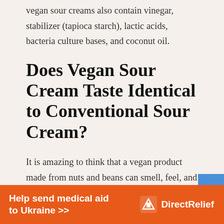vegan sour creams also contain vinegar, stabilizer (tapioca starch), lactic acids, bacteria culture bases, and coconut oil.
Does Vegan Sour Cream Taste Identical to Conventional Sour Cream?
It is amazing to think that a vegan product made from nuts and beans can smell, feel, and taste exactly like traditional dairy-based sour creams.
Can Vegan Sour Cream Be Prepared at Home?
[Figure (other): Advertisement banner for Direct Relief: 'Help send medical aid to Ukraine >>' with Direct Relief logo]